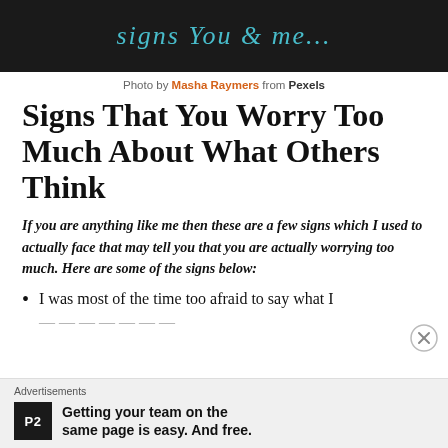[Figure (photo): Dark photo strip at top of page with cursive teal text overlay]
Photo by Masha Raymers from Pexels
Signs That You Worry Too Much About What Others Think
If you are anything like me then these are a few signs which I used to actually face that may tell you that you are actually worrying too much. Here are some of the signs below:
I was most of the time too afraid to say what I
Advertisements
Getting your team on the same page is easy. And free.